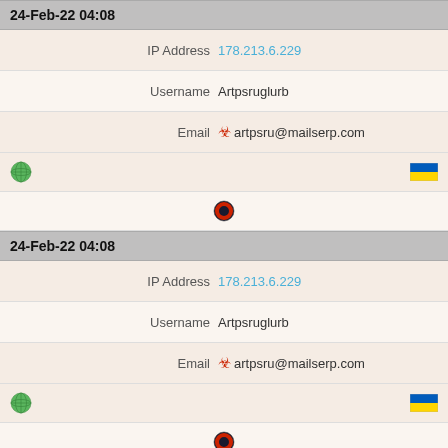| 24-Feb-22 04:08 |  |  |
| IP Address | 178.213.6.229 |  |
| Username | Artpsruglurb |  |
| Email | artpsru@mailserp.com |  |
| [globe icon] |  | [ukraine flag] |
| [opera icon] |  |  |
| 24-Feb-22 04:08 |  |  |
| IP Address | 178.213.6.229 |  |
| Username | Artpsruglurb |  |
| Email | artpsru@mailserp.com |  |
| [globe icon] |  | [ukraine flag] |
| [opera icon] |  |  |
| 24-Feb-22 04:08 |  |  |
| IP Address | 178.213.6.229 |  |
| Username | Artpsruglurb |  |
| Email | artpsru@mailserp.com |  |
| [globe icon] |  | [ukraine flag] |